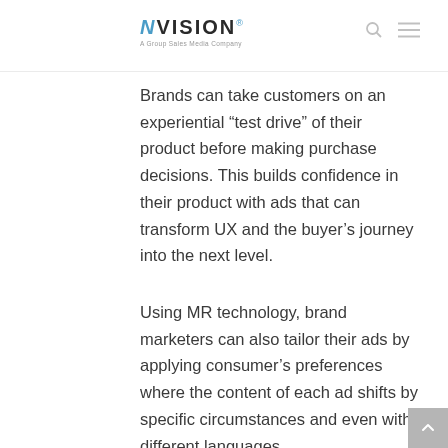NVISION
Brands can take customers on an experiential “test drive” of their product before making purchase decisions. This builds confidence in their product with ads that can transform UX and the buyer’s journey into the next level.
Using MR technology, brand marketers can also tailor their ads by applying consumer’s preferences where the content of each ad shifts by specific circumstances and even with different languages.
This will help brands tell a better story in a